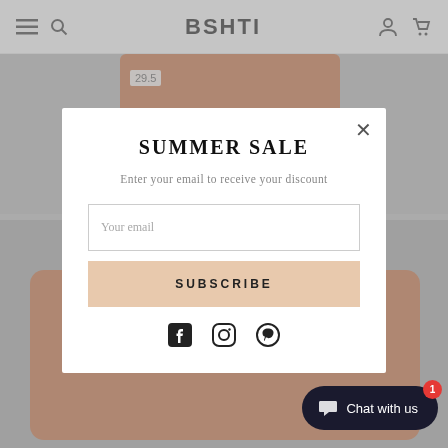BSHTI
[Figure (screenshot): E-commerce website showing a brown/terracotta upholstered chair product with navigation bar at top and a summer sale popup modal overlay]
SUMMER SALE
Enter your email to receive your discount
Your email
SUBSCRIBE
Chat with us